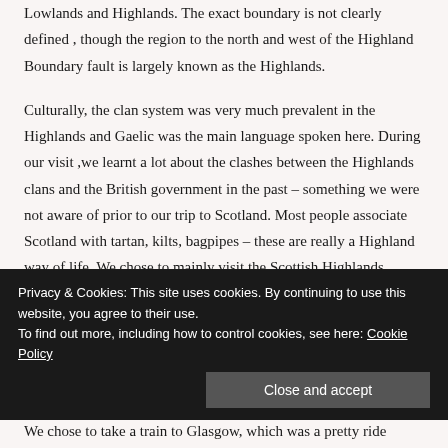Lowlands and Highlands. The exact boundary is not clearly defined , though the region to the north and west of the Highland Boundary fault is largely known as the Highlands.
Culturally, the clan system was very much prevalent in the Highlands and Gaelic was the main language spoken here. During our visit ,we learnt a lot about the clashes between the Highlands clans and the British government in the past – something we were not aware of prior to our trip to Scotland. Most people associate Scotland with tartan, kilts, bagpipes – these are really a Highland way of life. We chose to mainly visit the Scottish Highlands which is what I will be elaborating on in this post.
How we got here: I'd been from Scotland in S…
Privacy & Cookies: This site uses cookies. By continuing to use this website, you agree to their use. To find out more, including how to control cookies, see here: Cookie Policy
We chose to take a train to Glasgow, which was a pretty ride